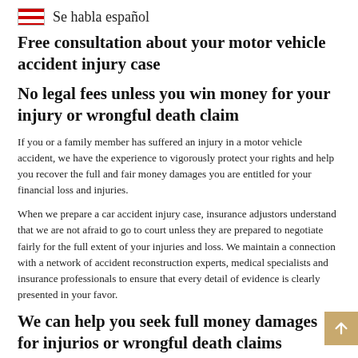Se habla español
Free consultation about your motor vehicle accident injury case
No legal fees unless you win money for your injury or wrongful death claim
If you or a family member has suffered an injury in a motor vehicle accident, we have the experience to vigorously protect your rights and help you recover the full and fair money damages you are entitled for your financial loss and injuries.
When we prepare a car accident injury case, insurance adjustors understand that we are not afraid to go to court unless they are prepared to negotiate fairly for the full extent of your injuries and loss. We maintain a connection with a network of accident reconstruction experts, medical specialists and insurance professionals to ensure that every detail of evidence is clearly presented in your favor.
We can help you seek full money damages for injuries or wrongful death claims